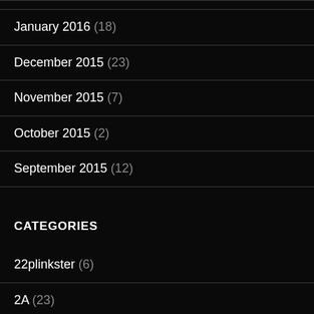January 2016 (18)
December 2015 (23)
November 2015 (7)
October 2015 (2)
September 2015 (12)
CATEGORIES
22plinkster (6)
2A (23)
Accessories (3)
Ammunition (13)
AR-15 (39)